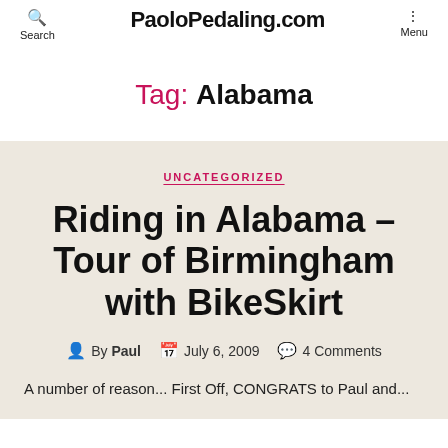PaoloPedaling.com | Search | Menu
Tag: Alabama
UNCATEGORIZED
Riding in Alabama – Tour of Birmingham with BikeSkirt
By Paul  July 6, 2009  4 Comments
A number of reason... First Off, CONGRATS to Paul and...